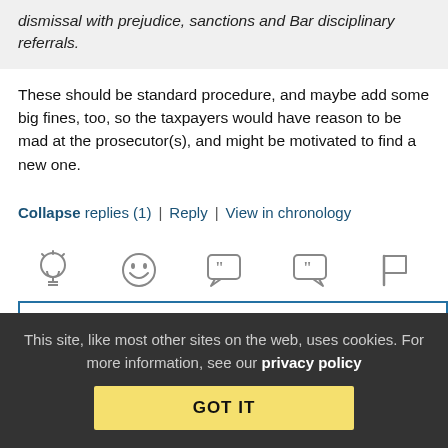dismissal with prejudice, sanctions and Bar disciplinary referrals.
These should be standard procedure, and maybe add some big fines, too, so the taxpayers would have reason to be mad at the prosecutor(s), and might be motivated to find a new one.
Collapse replies (1) | Reply | View in chronology
[Figure (infographic): Row of five comment/reaction icons: lightbulb, laughing face, open-quote speech bubble, close-quote speech bubble, flag]
[3] (reply count icon)
This site, like most other sites on the web, uses cookies. For more information, see our privacy policy
GOT IT